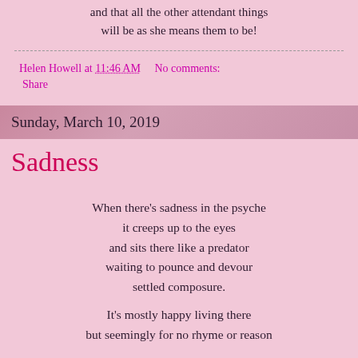and that all the other attendant things
will be as she means them to be!
Helen Howell at 11:46 AM    No comments:
Share
Sunday, March 10, 2019
Sadness
When there's sadness in the psyche
it creeps up to the eyes
and sits there like a predator
waiting to pounce and devour
settled composure.
It's mostly happy living there
but seemingly for no rhyme or reason